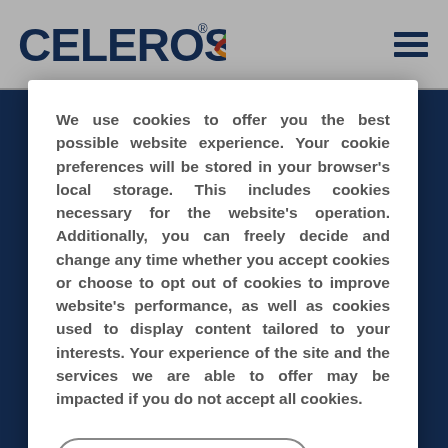[Figure (logo): Celeros logo with blue bold text and colorful circular swirl icon]
We use cookies to offer you the best possible website experience. Your cookie preferences will be stored in your browser's local storage. This includes cookies necessary for the website's operation. Additionally, you can freely decide and change any time whether you accept cookies or choose to opt out of cookies to improve website's performance, as well as cookies used to display content tailored to your interests. Your experience of the site and the services we are able to offer may be impacted if you do not accept all cookies.
Modify Cookie Preferences
Accept All Cookies